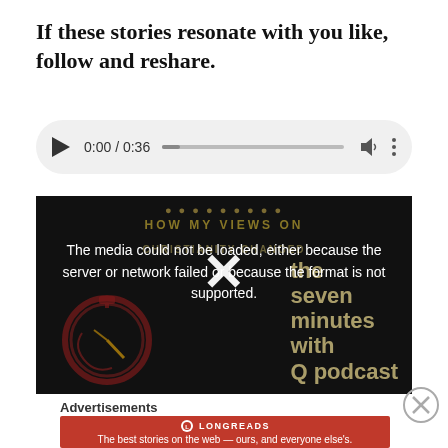If these stories resonate with you like, follow and reshare.
[Figure (other): Audio player widget showing 0:00 / 0:36 with play button, progress bar, volume and more options]
[Figure (other): Video player showing error message: The media could not be loaded, either because the server or network failed or because the format is not supported. Background shows podcast branding with X mark and 'the seven minutes with Q podcast' text.]
Advertisements
[Figure (other): Longreads advertisement banner: The best stories on the web — ours, and everyone else's.]